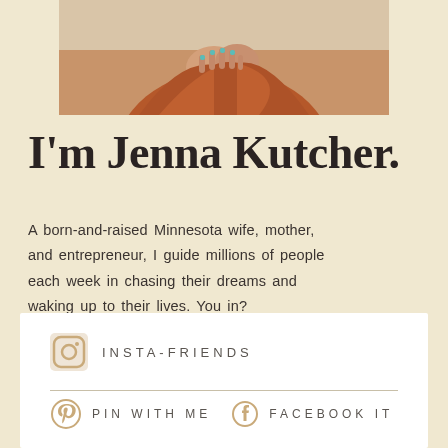[Figure (photo): Cropped photo of a person in a rust/orange outfit, hands clasped, shown from shoulders up against a warm beige background]
I'm Jenna Kutcher.
A born-and-raised Minnesota wife, mother, and entrepreneur, I guide millions of people each week in chasing their dreams and waking up to their lives. You in?
INSTA-FRIENDS
PIN WITH ME   FACEBOOK IT